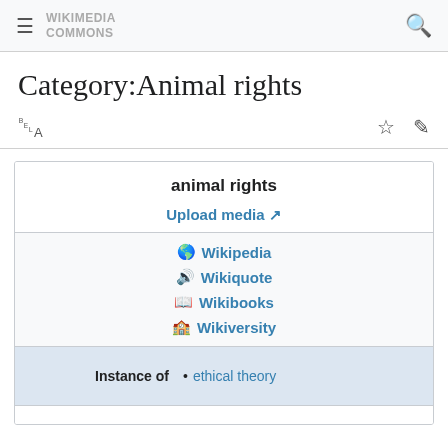WIKIMEDIA COMMONS
Category:Animal rights
Language / action bar with translate, star, and edit icons
animal rights
Upload media ↗
Wikipedia
Wikiquote
Wikibooks
Wikiversity
Instance of • ethical theory